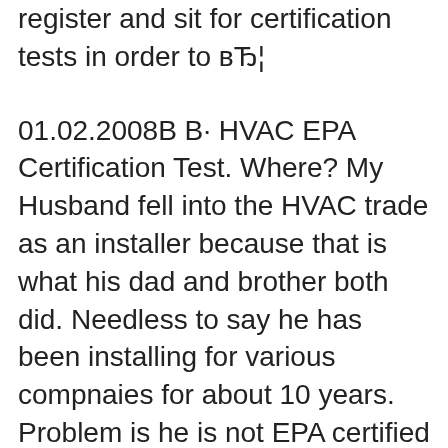register and sit for certification tests in order to вЂ¦
01.02.2008В В· HVAC EPA Certification Test. Where? My Husband fell into the HVAC trade as an installer because that is what his dad and brother both did. Needless to say he has been installing for various compnaies for about 10 years. Problem is he is not EPA certified for Freon etc... Typically the Service techs come in and do that stuff after he... HVAC Learning Solutions В©ii2006 HVAC Learning Solutions Table of Contents вЂў Introduction..3 Who is the EPA?..3
What kind? An EPA universal is on par